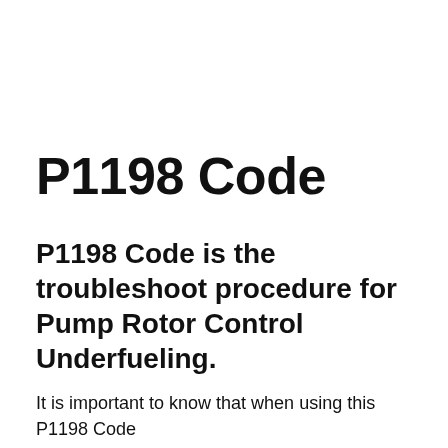P1198 Code
P1198 Code is the troubleshoot procedure for Pump Rotor Control Underfueling.
It is important to know that when using this P1198 Code